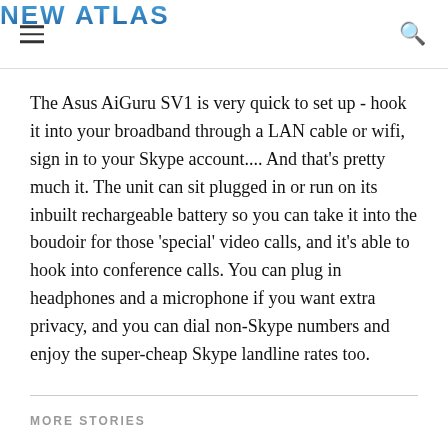NEW ATLAS
The Asus AiGuru SV1 is very quick to set up - hook it into your broadband through a LAN cable or wifi, sign in to your Skype account.... And that's pretty much it. The unit can sit plugged in or run on its inbuilt rechargeable battery so you can take it into the boudoir for those 'special' video calls, and it's able to hook into conference calls. You can plug in headphones and a microphone if you want extra privacy, and you can dial non-Skype numbers and enjoy the super-cheap Skype landline rates too.
MORE STORIES